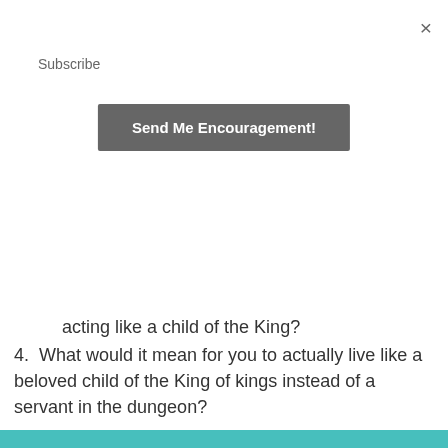Subscribe
Send Me Encouragement!
acting like a child of the King?
4. What would it mean for you to actually live like a beloved child of the King of kings instead of a servant in the dungeon?
**This article also appears on the Beyond Sunday Blog.**
Share this
Twitter  Facebook  Pinterest  Tumblr